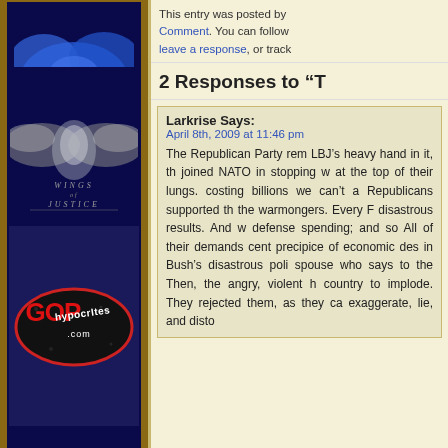[Figure (logo): Partial blue bird/logo at top of left sidebar on dark navy background]
[Figure (logo): Wings of Justice logo — stylized wings in gray/silver with italic script text reading 'wings of justice' on dark navy background]
[Figure (logo): GOPhypocrItes.com oval logo — black oval with red text 'GOP' and white stylized text 'hypocrItes.com' on dark navy background]
This entry was posted by
Comment. You can follow
leave a response, or track
2 Responses to “T
Larkrise Says:
April 8th, 2009 at 11:46 pm
The Republican Party rem LBJ's heavy hand in it, th joined NATO in stopping w at the top of their lungs. costing billions we can't a Republicans supported th the warmongers. Every F disastrous results. And w defense spending; and so All of their demands cent precipice of economic des in Bush's disastrous poli spouse who says to the Then, the angry, violent h country to implode. They rejected them, as they ca exaggerate, lie, and disto